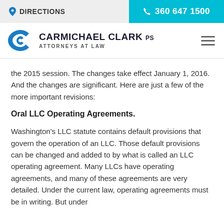DIRECTIONS | 360 647 1500
[Figure (logo): Carmichael Clark PS Attorneys at Law logo with stylized CC mark in blue]
the 2015 session. The changes take effect January 1, 2016. And the changes are significant. Here are just a few of the more important revisions:
Oral LLC Operating Agreements.
Washington's LLC statute contains default provisions that govern the operation of an LLC. Those default provisions can be changed and added to by what is called an LLC operating agreement. Many LLCs have operating agreements, and many of these agreements are very detailed. Under the current law, operating agreements must be in writing. But under